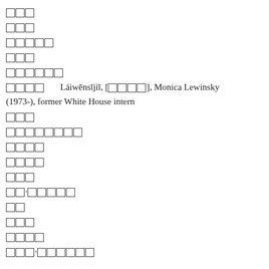□□□
□□□
□□□□□
□□□
□□□□□□
□□□□   Láiwēnsījiī, [□□□□], Monica Lewinsky (1973-), former White House intern
□□□
□□□□□□□□
□□□□
□□□□
□□□
□□·□□□□□
□□
□□□
□□□□
□□□·□□□□□□